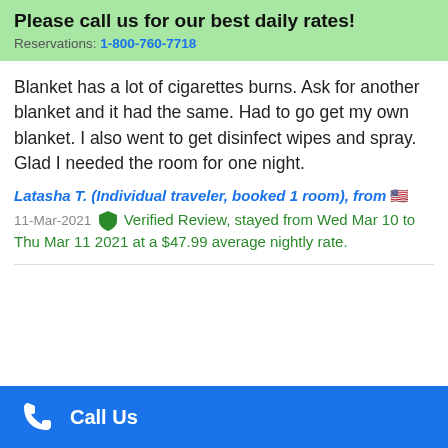Please call us for our best daily rates! Reservations: 1-800-760-7718
Blanket has a lot of cigarettes burns. Ask for another blanket and it had the same. Had to go get my own blanket. I also went to get disinfect wipes and spray. Glad I needed the room for one night.
Latasha T. (Individual traveler, booked 1 room), from 🇺🇸
11-Mar-2021 ✦ Verified Review, stayed from Wed Mar 10 to Thu Mar 11 2021 at a $47.99 average nightly rate.
Call Us